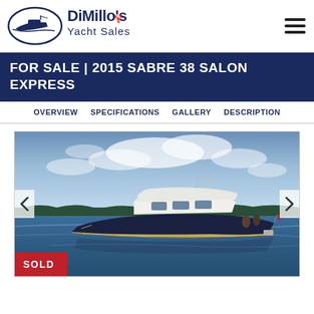DiMillo's Yacht Sales
FOR SALE | 2015 SABRE 38 SALON EXPRESS
OVERVIEW  SPECIFICATIONS  GALLERY  DESCRIPTION
[Figure (photo): A 2015 Sabre 38 Salon Express motorboat on open water with a forested shoreline in the background and a partly cloudy sky. The boat has a dark hull and white superstructure. A red 'SOLD' badge appears in the bottom-left corner of the image.]
SOLD